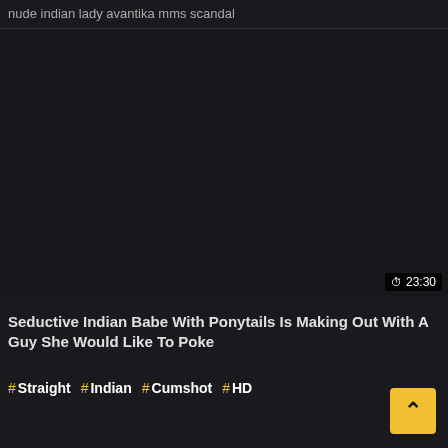nude indian lady avantika mms scandal
[Figure (screenshot): Dark video thumbnail area, mostly black/dark background with no visible content]
⏱ 23:30
Seductive Indian Babe With Ponytails Is Making Out With A Guy She Would Like To Poke
# Straight # Indian # Cumshot # HD